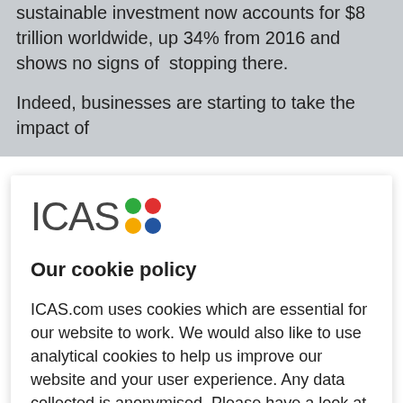sustainable investment now accounts for $8 trillion worldwide, up 34% from 2016 and shows no signs of stopping there.

Indeed, businesses are starting to take the impact of
[Figure (logo): ICAS logo with colored dots (green, red, yellow, blue) arranged in a 2x2 grid]
Our cookie policy
ICAS.com uses cookies which are essential for our website to work. We would also like to use analytical cookies to help us improve our website and your user experience. Any data collected is anonymised. Please have a look at the further information in our cookie policy and confirm if you are happy for us to use analytical cookies:
ACCEPT ALL COOKIES